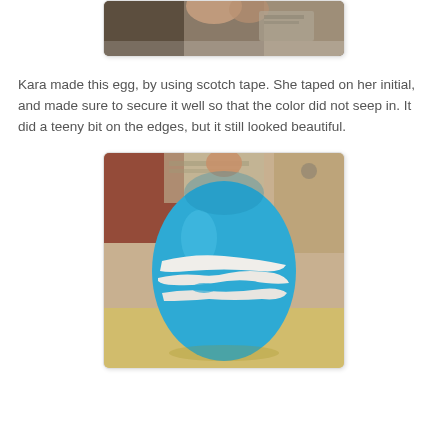[Figure (photo): Partial top photo showing a blurry close-up, likely a hand and some background items, cropped at bottom of frame]
Kara made this egg, by using scotch tape. She taped on her initial, and made sure to secure it well so that the color did not seep in. It did a teeny bit on the edges, but it still looked beautiful.
[Figure (photo): A blue Easter egg with white letter or initial showing through where scotch tape was applied, sitting on a yellow surface with blurred background]